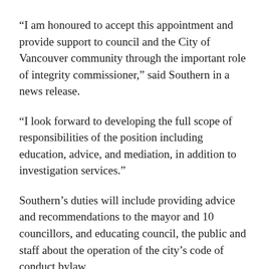“I am honoured to accept this appointment and provide support to council and the City of Vancouver community through the important role of integrity commissioner,” said Southern in a news release.
“I look forward to developing the full scope of responsibilities of the position including education, advice, and mediation, in addition to investigation services.”
Southern’s duties will include providing advice and recommendations to the mayor and 10 councillors, and educating council, the public and staff about the operation of the city’s code of conduct bylaw.
She will also be responsible for conducting investigations into complaints of alleged breaches of the code of conduct.
Southern already has experience in such investigations